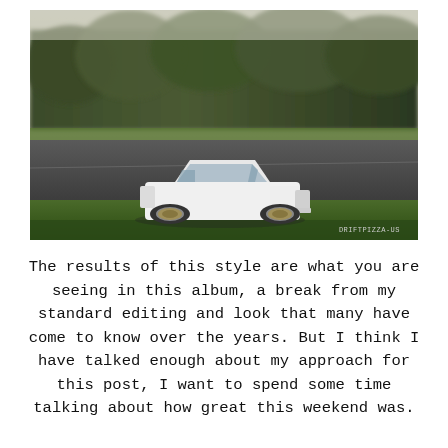[Figure (photo): A white modified sports car (Nissan S13/Silvia style drift car) on a race track circuit, with green grass in the foreground and blurred trees in the background. Motion blur suggests the car is moving at speed. A small watermark reading 'DRIFTPIZZA-US' appears in the bottom right corner of the photo.]
The results of this style are what you are seeing in this album, a break from my standard editing and look that many have come to know over the years. But I think I have talked enough about my approach for this post, I want to spend some time talking about how great this weekend was.